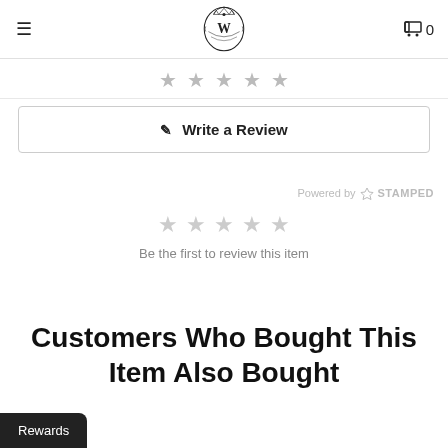≡  W  🛒 0
[Figure (other): Five outlined star icons in a row near top of page, gray]
[Figure (other): Write a Review button with edit icon]
Powered by STAMPED
[Figure (other): Five empty gray star rating icons]
Be the first to review this item
Customers Who Bought This Item Also Bought
Rewards